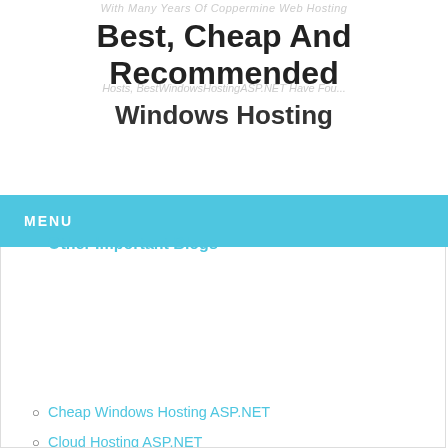With Many Years Of Coppermine Web Hosting
Best, Cheap And Recommended Windows Hosting
Hosts, BestWindowsHostingASP.NET Have Fou...
MENU
Other Important Blogs
ASP.NET 5 Hosting
Best Cheap Hosting ASP.NET
Best Cloud Hosting ASP.NET
Business Vendor
Cheap Hosting ASP.NET
Cheap Hosting Windows
Cheap Windows Hosting ASP.NET
Cloud Hosting ASP.NET
Creative Videos
Discount Service Hosting
Discount Windows Hosting
European Hosting ASP.NET